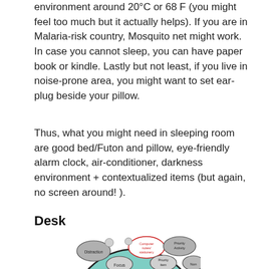environment around 20°C or 68 F (you might feel too much but it actually helps). If you are in Malaria-risk country, Mosquito net might work. In case you cannot sleep, you can have paper book or kindle. Lastly but not least, if you live in noise-prone area, you might want to set ear-plug beside your pillow.
Thus, what you might need in sleeping room are good bed/Futon and pillow, eye-friendly alarm clock, air-conditioner, darkness environment + contextualized items (but again, no screen around! ).
Desk
[Figure (illustration): Circular diagram with a teal/light blue background showing items on a desk. Circles labeled: Distraction, Focus, Computer/notes/stationery (in red), Priority Activity, Priority item, Non (partially visible). Hand-drawn style illustration.]